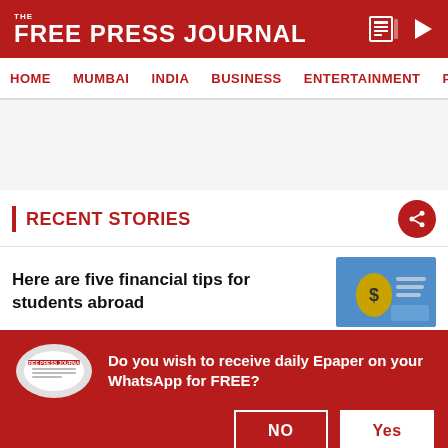THE FREE PRESS JOURNAL
HOME  MUMBAI  INDIA  BUSINESS  ENTERTAINMENT  PHO
RECENT STORIES
Here are five financial tips for students abroad
[Figure (photo): Person holding dollar sign money bag over financial documents]
Edtech startup in the dock over alleged irregularities
[Figure (photo): Business person in office setting, edtech related]
Do you wish to receive daily Epaper on your WhatsApp for FREE?
[Figure (photo): Free Press Journal newspaper roll image]